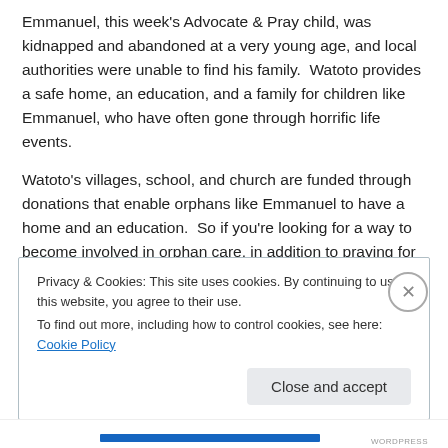Emmanuel, this week's Advocate & Pray child, was kidnapped and abandoned at a very young age, and local authorities were unable to find his family.  Watoto provides a safe home, an education, and a family for children like Emmanuel, who have often gone through horrific life events.
Watoto's villages, school, and church are funded through donations that enable orphans like Emmanuel to have a home and an education.  So if you're looking for a way to become involved in orphan care, in addition to praying for
Privacy & Cookies: This site uses cookies. By continuing to use this website, you agree to their use.
To find out more, including how to control cookies, see here: Cookie Policy
Close and accept